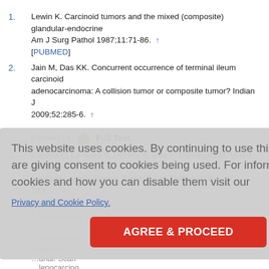1. Lewin K. Carcinoid tumors and the mixed (composite) glandular-endocrine… Am J Surg Pathol 1987;11:71-86. ↑ [PUBMED]
2. Jain M, Das KK. Concurrent occurrence of terminal ileum carcinoid adenocarcinoma: A collision tumor or composite tumor? Indian J 2009;52:285-6. ↑ [PUBMED] Full Text
3. Capella C, La Rosa S, Uccella S, Billo P, Cornaggia M. Mixed endocrine-e… the gastrointestinal tract. Semin Diagn Pathol 2000;17:91-103. ↑ [PUBMED]
This website uses cookies. By continuing to use this website you are giving consent to cookies being used. For information on cookies and how you can disable them visit our Privacy and Cookie Policy. AGREE & PROCEED